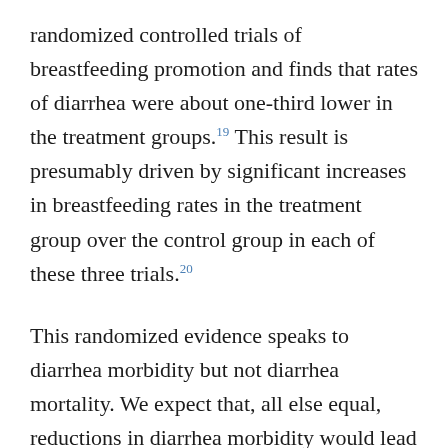randomized controlled trials of breastfeeding promotion and finds that rates of diarrhea were about one-third lower in the treatment groups.¹⁹ This result is presumably driven by significant increases in breastfeeding rates in the treatment group over the control group in each of these three trials.²⁰
This randomized evidence speaks to diarrhea morbidity but not diarrhea mortality. We expect that, all else equal, reductions in diarrhea morbidity would lead to reductions in diarrhea mortality in places where a substantial diarrhea mortality burden is present. Horta & Victora 2013, which we cite